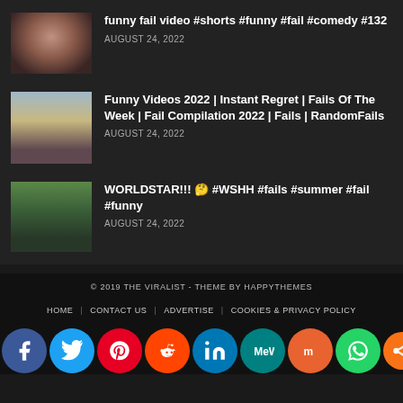funny fail video #shorts #funny #fail #comedy #132
AUGUST 24, 2022
Funny Videos 2022 | Instant Regret | Fails Of The Week | Fail Compilation 2022 | Fails | RandomFails
AUGUST 24, 2022
WORLDSTAR!!! 🤔 #WSHH #fails #summer #fail #funny
AUGUST 24, 2022
© 2019 THE VIRALIST - THEME BY HAPPYTHEMES
HOME | CONTACT US | ADVERTISE | COOKIES & PRIVACY POLICY
[Figure (other): Social media share icons: Facebook, Twitter, Pinterest, Reddit, LinkedIn, MeWe, Mix, WhatsApp, Share]